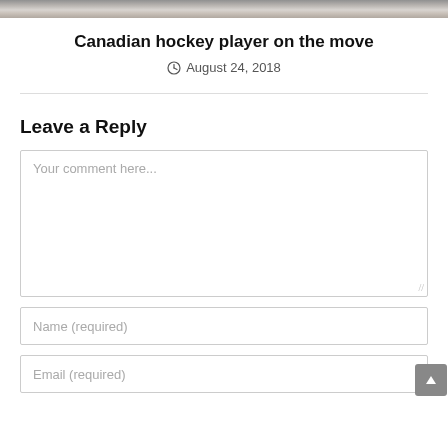[Figure (photo): Top strip showing a partial image of a hockey player in red and white uniform]
Canadian hockey player on the move
August 24, 2018
Leave a Reply
Your comment here...
Name (required)
Email (required)